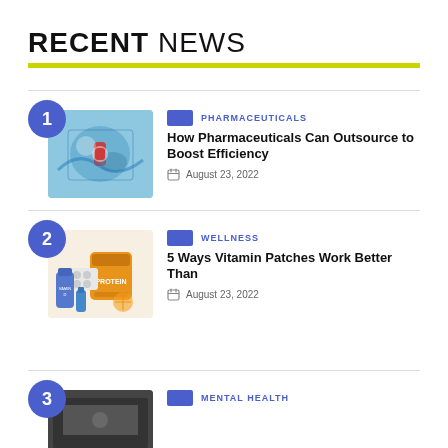RECENT NEWS
1 | PHARMACEUTICALS | How Pharmaceuticals Can Outsource to Boost Efficiency | August 23, 2022
2 | WELLNESS | 5 Ways Vitamin Patches Work Better Than | August 23, 2022
3 | MENTAL HEALTH